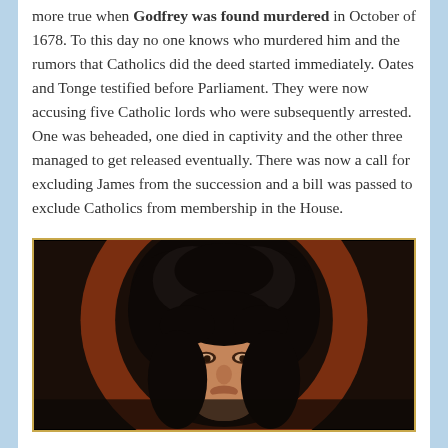more true when Godfrey was found murdered in October of 1678. To this day no one knows who murdered him and the rumors that Catholics did the deed started immediately. Oates and Tonge testified before Parliament. They were now accusing five Catholic lords who were subsequently arrested. One was beheaded, one died in captivity and the other three managed to get released eventually. There was now a call for excluding James from the succession and a bill was passed to exclude Catholics from membership in the House.
[Figure (photo): Portrait painting of a man with long dark curly hair against a dark background with a reddish-brown circular element. The man's face is partially visible, showing eyes and upper face.]